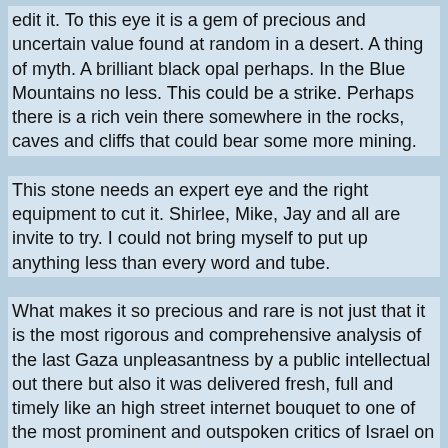edit it. To this eye it is a gem of precious and uncertain value found at random in a desert.  A thing of myth. A brilliant black opal perhaps. In the Blue Mountains no less. This could be a strike. Perhaps there is a rich vein there somewhere in the rocks, caves and cliffs that could bear some more mining.
This stone needs an expert eye and the right equipment to cut it. Shirlee, Mike, Jay and all are invite to try. I could not bring myself to put up anything less than every word and tube.
What makes it so precious and rare is not just that it is the most rigorous and comprehensive analysis of the last Gaza unpleasantness by a public intellectual out there but also it was delivered fresh, full and timely like an high street internet bouquet to one of the most prominent and outspoken critics of Israel on the Sydney scene.
From Slezak, not a word in reply. Why? What an enormous opportunity to say what he is about. It would be a certain link because many must be dying to see what Slezak is going to do about this work of art Baldwin has painted on the ceiling of